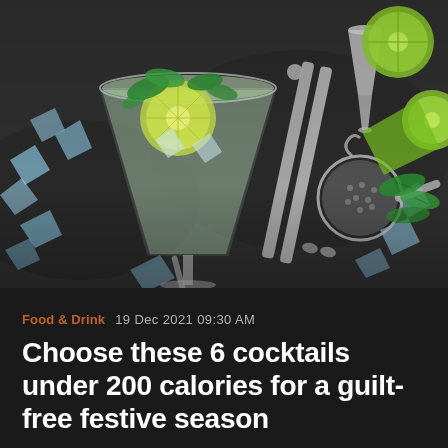[Figure (photo): Overhead/top-down photo of cocktail ingredients on a dark wet surface: a tall glass with a mojito (ice, lime slice, mint leaves), bartending tools including tongs, a jigger, and a cocktail strainer, with lime halves and mint leaves scattered on crushed ice on a dark stone background.]
Food & Drink   19 Dec 2021 09:30 AM
Choose these 6 cocktails under 200 calories for a guilt-free festive season